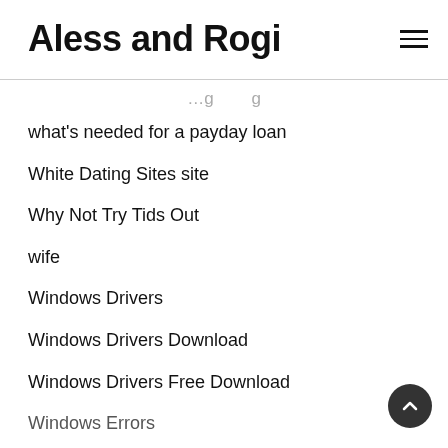Aless and Rogi
what's needed for a payday loan
White Dating Sites site
Why Not Try Tids Out
wife
Windows Drivers
Windows Drivers Download
Windows Drivers Free Download
Windows Errors